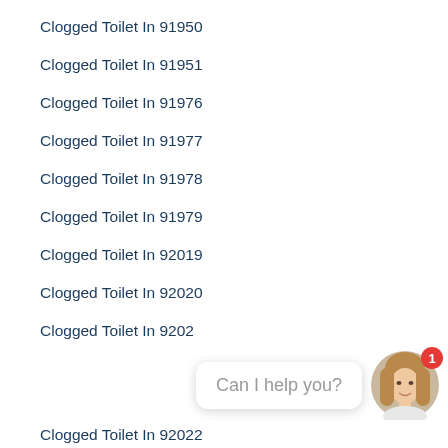Clogged Toilet In 91950
Clogged Toilet In 91951
Clogged Toilet In 91976
Clogged Toilet In 91977
Clogged Toilet In 91978
Clogged Toilet In 91979
Clogged Toilet In 92019
Clogged Toilet In 92020
Clogged Toilet In 9202…
Clogged Toilet In 92022